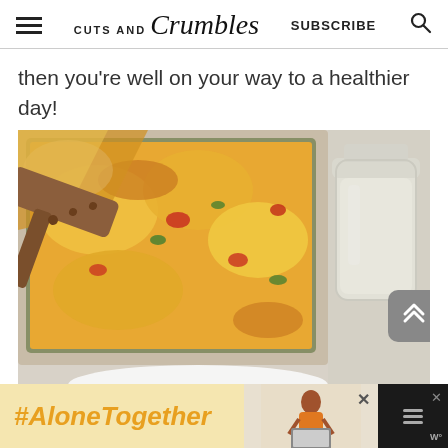CUTS AND Crumbles  SUBSCRIBE
then you're well on your way to a healthier day!
[Figure (photo): A baking dish with cheesy egg casserole being served with a wooden spatula, and a glass jar of milk on the side, on a light gray surface with a white plate.]
#AloneTogether